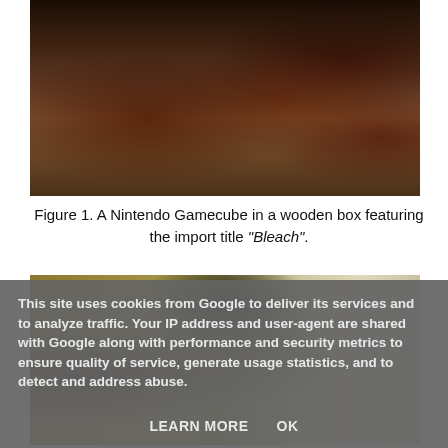[Figure (photo): A photo showing people with a Nintendo Gamecube in a dark room setting, with wires visible]
Figure 1. A Nintendo Gamecube in a wooden box featuring the import title "Bleach".
[Figure (photo): A photo showing two people from behind/side, one with blonde hair and one with brown hair, in a room with yellow/green walls]
This site uses cookies from Google to deliver its services and to analyze traffic. Your IP address and user-agent are shared with Google along with performance and security metrics to ensure quality of service, generate usage statistics, and to detect and address abuse.
LEARN MORE    OK